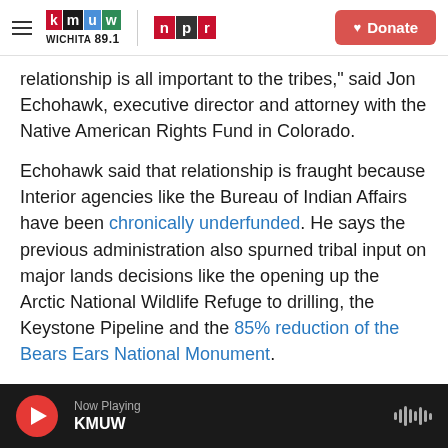KMUW WICHITA 89.1 | NPR — Donate
relationship is all important to the tribes," said Jon Echohawk, executive director and attorney with the Native American Rights Fund in Colorado.
Echohawk said that relationship is fraught because Interior agencies like the Bureau of Indian Affairs have been chronically underfunded. He says the previous administration also spurned tribal input on major lands decisions like the opening up the Arctic National Wildlife Refuge to drilling, the Keystone Pipeline and the 85% reduction of the Bears Ears National Monument.
Now Playing KMUW